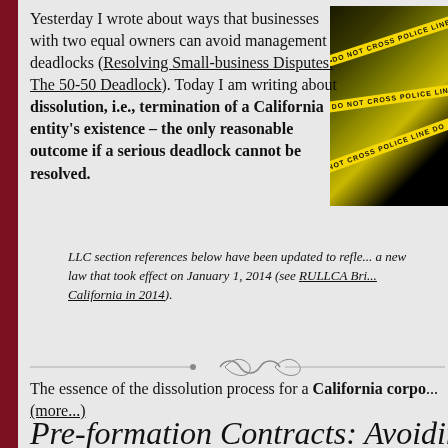Yesterday I wrote about ways that businesses with two equal owners can avoid management deadlocks (Resolving Small-business Disputes: The 50-50 Deadlock). Today I am writing about dissolution, i.e., termination of a California entity's existence – the only reasonable outcome if a serious deadlock cannot be resolved.
LLC section references below have been updated to reflect a new law that took effect on January 1, 2014 (see RULLCA Brings Changes to California in 2014).
The essence of the dissolution process for a California corpo... (more...)
Pre-formation Contracts: Avoiding P...